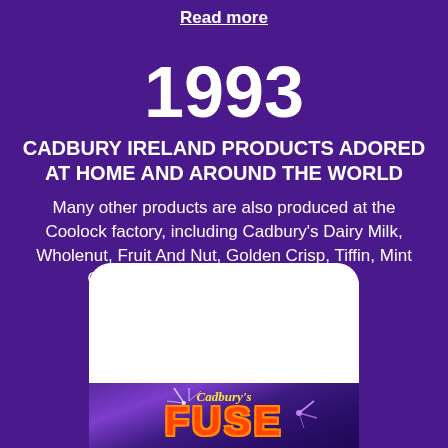Read more
1993
CADBURY IRELAND PRODUCTS ADORED AT HOME AND AROUND THE WORLD
Many other products are also produced at the Coolock factory, including Cadbury's Dairy Milk, Wholenut, Fruit And Nut, Golden Crisp, Tiffin, Mint Crisp, Turkish, Caramilk, Rum and...
Read more
[Figure (photo): Cadbury's Fuse chocolate bar packaging, partially visible at the bottom of the page, showing the Cadbury's logo in yellow italic text and the word FUSE in large orange letters on a purple/dark background with fireworks design]